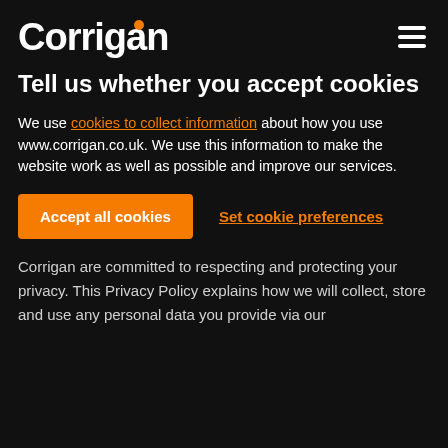Corrigan
Tell us whether you accept cookies
We use cookies to collect information about how you use www.corrigan.co.uk. We use this information to make the website work as well as possible and improve our services.
Accept all cookies | Set cookie preferences
Corrigan are committed to respecting and protecting your privacy. This Privacy Policy explains how we will collect, store and use any personal data you provide via our